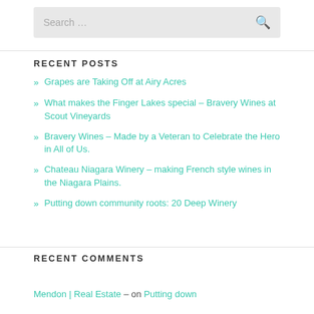[Figure (screenshot): Search bar with placeholder text 'Search ...' and a search icon on the right]
RECENT POSTS
Grapes are Taking Off at Airy Acres
What makes the Finger Lakes special – Bravery Wines at Scout Vineyards
Bravery Wines – Made by a Veteran to Celebrate the Hero in All of Us.
Chateau Niagara Winery – making French style wines in the Niagara Plains.
Putting down community roots: 20 Deep Winery
RECENT COMMENTS
Mendon | Real Estate – on Putting down